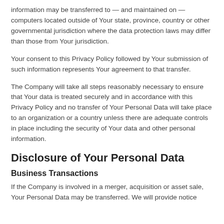information may be transferred to — and maintained on — computers located outside of Your state, province, country or other governmental jurisdiction where the data protection laws may differ than those from Your jurisdiction.
Your consent to this Privacy Policy followed by Your submission of such information represents Your agreement to that transfer.
The Company will take all steps reasonably necessary to ensure that Your data is treated securely and in accordance with this Privacy Policy and no transfer of Your Personal Data will take place to an organization or a country unless there are adequate controls in place including the security of Your data and other personal information.
Disclosure of Your Personal Data
Business Transactions
If the Company is involved in a merger, acquisition or asset sale, Your Personal Data may be transferred. We will provide notice